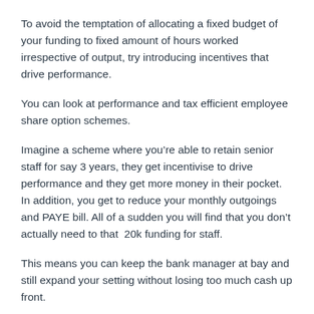To avoid the temptation of allocating a fixed budget of your funding to fixed amount of hours worked irrespective of output, try introducing incentives that drive performance.
You can look at performance and tax efficient employee share option schemes.
Imagine a scheme where you're able to retain senior staff for say 3 years, they get incentivise to drive performance and they get more money in their pocket. In addition, you get to reduce your monthly outgoings and PAYE bill. All of a sudden you will find that you don't actually need to that  20k funding for staff.
This means you can keep the bank manager at bay and still expand your setting without losing too much cash up front.